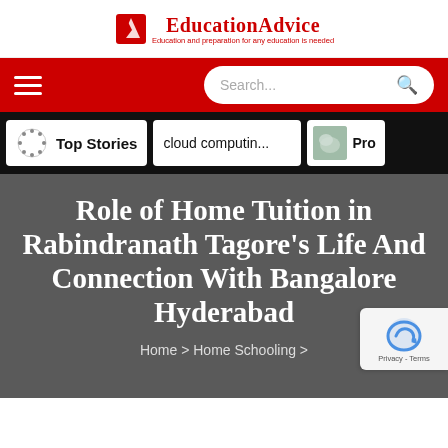EducationAdvice - Education and preparation for any education is needed
[Figure (screenshot): Red navigation bar with hamburger menu on left and search box on right]
[Figure (screenshot): Black tabs bar with Top Stories, cloud computin..., and Pro tabs]
Role of Home Tuition in Rabindranath Tagore's Life And Connection With Bangalore Hyderabad
Home > Home Schooling >